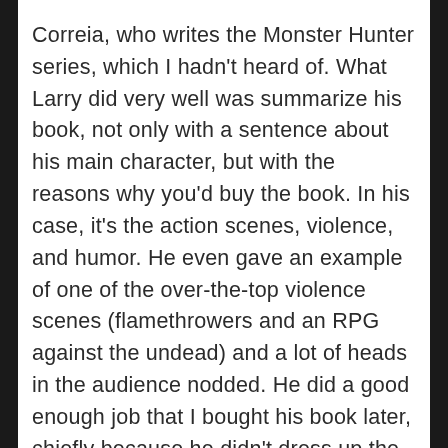Correia, who writes the Monster Hunter series, which I hadn't heard of. What Larry did very well was summarize his book, not only with a sentence about his main character, but with the reasons why you'd buy the book. In his case, it's the action scenes, violence, and humor. He even gave an example of one of the over-the-top violence scenes (flamethrowers and an RPG against the undead) and a lot of heads in the audience nodded. He did a good enough job that I bought his book later, chiefly because he didn't dress up the book to be something it wasn't. He sold it on what it was.